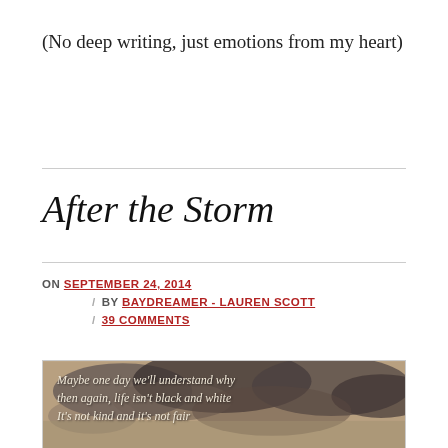(No deep writing, just emotions from my heart)
After the Storm
ON SEPTEMBER 24, 2014 / BY BAYDREAMER - LAUREN SCOTT / 39 COMMENTS
[Figure (photo): Stormy sky with clouds, sepia-toned. Overlaid italic text reads: Maybe one day we'll understand why then again, life isn't black and white It's not kind and it's not fair]